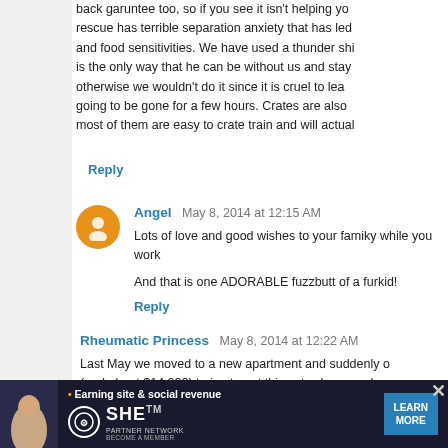back garuntee too, so if you see it isn't helping yo rescue has terrible separation anxiety that has led and food sensitivities. We have used a thunder shi is the only way that he can be without us and stay otherwise we wouldn't do it since it is cruel to lea going to be gone for a few hours. Crates are also most of them are easy to crate train and will actua
Reply
Angel  May 8, 2014 at 12:15 AM
Lots of love and good wishes to your famiky while you work
And that is one ADORABLE fuzzbutt of a furkid!
Reply
Rheumatic Princess  May 8, 2014 at 12:22 AM
Last May we moved to a new apartment and suddenly o (and about $14,000) trying to get this cat, who was always twice. Three ultrasounds. 4 months with a feeding t Eleven solid months on nausea medication. Six or s
[Figure (infographic): Advertisement banner for SHE Media Partner Network with tagline 'Earning site & social revenue', SHE logo, and 'LEARN MORE' button]